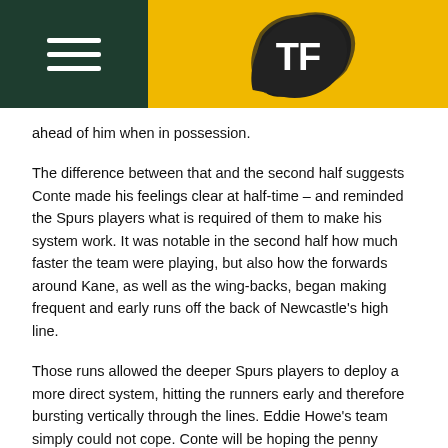TF (logo)
ahead of him when in possession.
The difference between that and the second half suggests Conte made his feelings clear at half-time – and reminded the Spurs players what is required of them to make his system work. It was notable in the second half how much faster the team were playing, but also how the forwards around Kane, as well as the wing-backs, began making frequent and early runs off the back of Newcastle's high line.
Those runs allowed the deeper Spurs players to deploy a more direct system, hitting the runners early and therefore bursting vertically through the lines. Eddie Howe's team simply could not cope. Conte will be hoping the penny finally dropped in this game; Spurs use a lower block than most top clubs and it simply will not yield positive results unless they work hard to play as directly as possible.